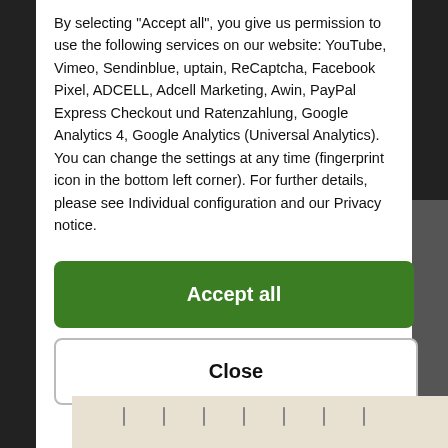By selecting "Accept all", you give us permission to use the following services on our website: YouTube, Vimeo, Sendinblue, uptain, ReCaptcha, Facebook Pixel, ADCELL, Adcell Marketing, Awin, PayPal Express Checkout und Ratenzahlung, Google Analytics 4, Google Analytics (Universal Analytics). You can change the settings at any time (fingerprint icon in the bottom left corner). For further details, please see Individual configuration and our Privacy notice.
Accept all
Close
Configuration
[Figure (photo): Row of small jars/containers visible at the bottom of the page behind the modal dialog]